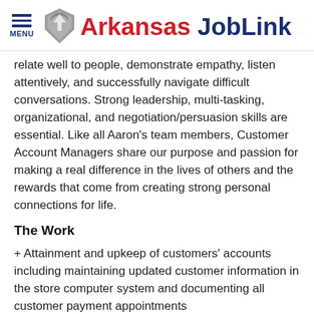MENU | Arkansas JobLink
relate well to people, demonstrate empathy, listen attentively, and successfully navigate difficult conversations. Strong leadership, multi-tasking, organizational, and negotiation/persuasion skills are essential. Like all Aaron's team members, Customer Account Managers share our purpose and passion for making a real difference in the lives of others and the rewards that come from creating strong personal connections for life.
The Work
+ Attainment and upkeep of customers' accounts including maintaining updated customer information in the store computer system and documenting all customer payment appointments